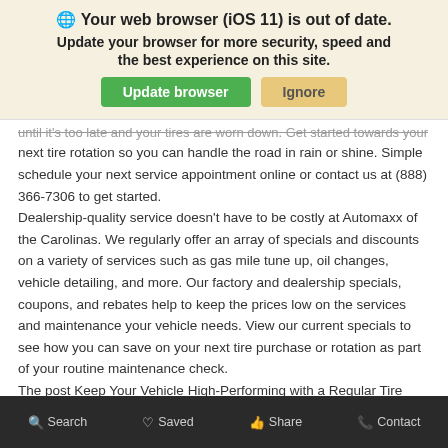[Figure (screenshot): Browser update banner notification with globe icon, bold heading 'Your web browser (iOS 11) is out of date.', subtext 'Update your browser for more security, speed and the best experience on this site.', and two buttons: green 'Update browser' and tan 'Ignore'.]
until it's too late and your tires are worn down. Get started towards your next tire rotation so you can handle the road in rain or shine. Simple schedule your next service appointment online or contact us at (888) 366-7306 to get started. Dealership-quality service doesn't have to be costly at Automaxx of the Carolinas. We regularly offer an array of specials and discounts on a variety of services such as gas mile tune up, oil changes, vehicle detailing, and more. Our factory and dealership specials, coupons, and rebates help to keep the prices low on the services and maintenance your vehicle needs. View our current specials to see how you can save on your next tire purchase or rotation as part of your routine maintenance check. The post Keep Your Vehicle High-Performing with a Regular Tire Rotation appeared first on Automaxx of the Carolinas. Source: Automaxx of the Carolinas
Search   Saved   Share   Contact